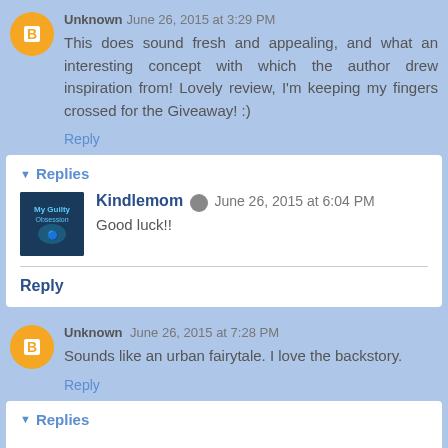Unknown June 26, 2015 at 3:29 PM
This does sound fresh and appealing, and what an interesting concept with which the author drew inspiration from! Lovely review, I'm keeping my fingers crossed for the Giveaway! :)
Reply
Replies
Kindlemom  June 26, 2015 at 6:04 PM
Good luck!!
Reply
Unknown June 26, 2015 at 7:28 PM
Sounds like an urban fairytale. I love the backstory.
Reply
Replies